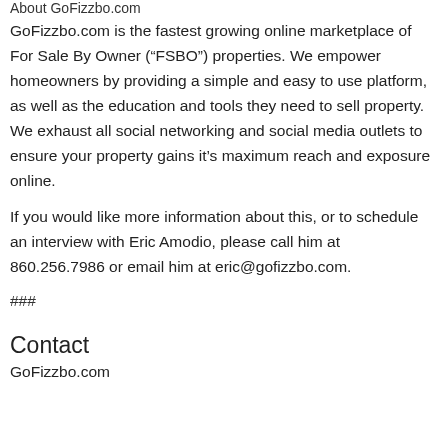About GoFizzbo.com
GoFizzbo.com is the fastest growing online marketplace of For Sale By Owner (“FSBO”) properties. We empower homeowners by providing a simple and easy to use platform, as well as the education and tools they need to sell property. We exhaust all social networking and social media outlets to ensure your property gains it’s maximum reach and exposure online.
If you would like more information about this, or to schedule an interview with Eric Amodio, please call him at 860.256.7986 or email him at eric@gofizzbo.com.
###
Contact
GoFizzbo.com